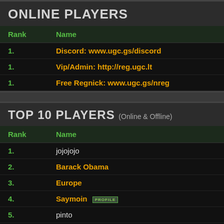ONLINE PLAYERS
| Rank | Name |
| --- | --- |
| 1. | Discord: www.ugc.gs/discord |
| 1. | Vip/Admin: http://reg.ugc.lt |
| 1. | Free Regnick: www.ugc.gs/nreg |
TOP 10 PLAYERS (Online & Offline)
| Rank | Name |
| --- | --- |
| 1. | jojojojo |
| 2. | Barack Obama |
| 3. | Europe |
| 4. | Saymoin PROFILE |
| 5. | pinto |
| 6. | DIE |
| 7. | imad |
| 8. | FADA |
| 9. | PriesT |